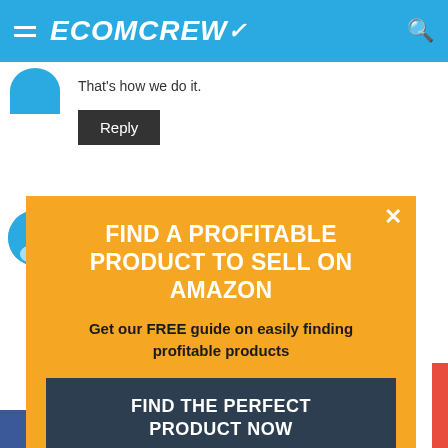ECOMCREW
That's how we do it.
Reply
Sam
FIND A PROFITABLE PRODUCT TO SELL ON AMAZON
Get our FREE guide on easily finding profitable products
FIND THE PERFECT PRODUCT NOW